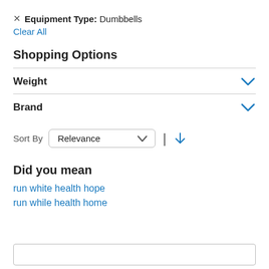✕ Equipment Type: Dumbbells
Clear All
Shopping Options
Weight
Brand
Sort By Relevance
Did you mean
run white health hope
run while health home